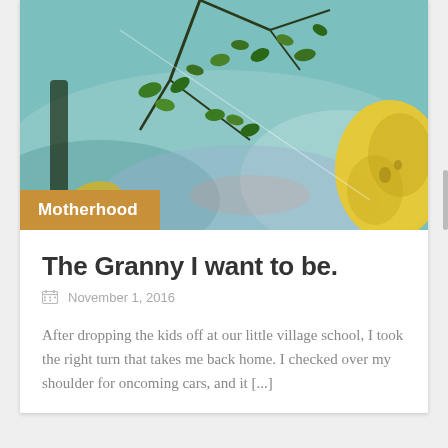[Figure (photo): Outdoor nature photo showing green tree branches, leaves, and water reflections with teal/blue tones and a yellow/green gourd or fruit on the right side]
Motherhood
The Granny I want to be.
November 1, 2016
After dropping the kids off at our little village school, I took the right turn that takes me back home. I checked over my shoulder for oncoming cars, and it [...]